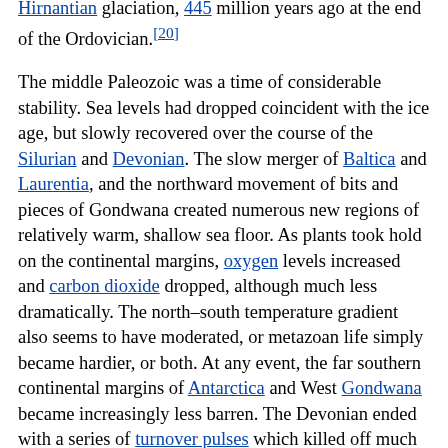Hirnantian glaciation, 445 million years ago at the end of the Ordovician.[20]
The middle Paleozoic was a time of considerable stability. Sea levels had dropped coincident with the ice age, but slowly recovered over the course of the Silurian and Devonian. The slow merger of Baltica and Laurentia, and the northward movement of bits and pieces of Gondwana created numerous new regions of relatively warm, shallow sea floor. As plants took hold on the continental margins, oxygen levels increased and carbon dioxide dropped, although much less dramatically. The north–south temperature gradient also seems to have moderated, or metazoan life simply became hardier, or both. At any event, the far southern continental margins of Antarctica and West Gondwana became increasingly less barren. The Devonian ended with a series of turnover pulses which killed off much of middle Paleozoic vertebrate life, without noticeably reducing species diversity overall.
There are many unanswered questions about the late Paleozoic. The Mississippian (early Carboniferous Period) began with a spike in atmospheric oxygen, while carbon dioxide plummeted to new lows. This destabilized the climate and led to one, and perhaps two, ice ages during the Carboniferous. These were far more severe than the brief Late Ordovician ice age; but, this time, the